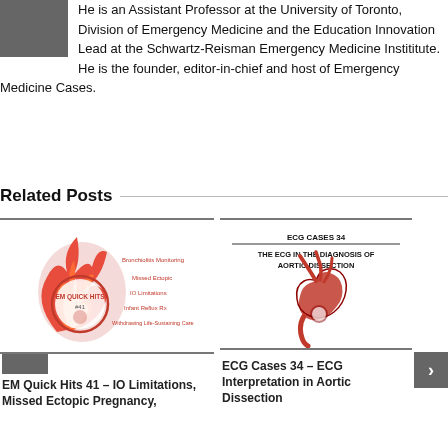He is an Assistant Professor at the University of Toronto, Division of Emergency Medicine and the Education Innovation Lead at the Schwartz-Reisman Emergency Medicine Instititute. He is the founder, editor-in-chief and host of Emergency Medicine Cases.
Related Posts
[Figure (illustration): EM Quick Hits #41 promotional image with flame logo and bullet points: Bronchiolitis Monitoring, Missed Ectopic, IO Limitations, Infant Reflux Rx, Withdrawing Life-Sustaining Care]
[Figure (illustration): ECG Cases 34 – THE ECG IN THE DIAGNOSIS OF AORTIC DISSECTION with aorta illustration]
EM Quick Hits 41 – IO Limitations, Missed Ectopic Pregnancy,
ECG Cases 34 – ECG Interpretation in Aortic Dissection